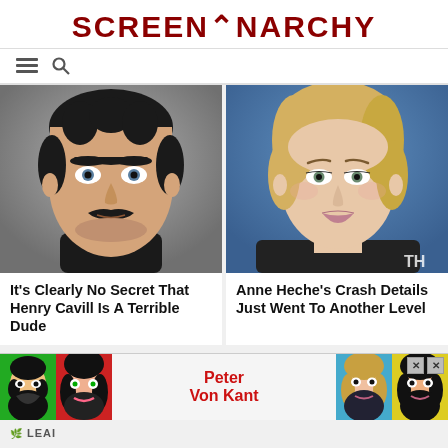SCREENANARCHY
[Figure (photo): Screenshot of ScreenAnarchy website showing two article thumbnails: a man with a mustache (Henry Cavill) and a woman with blonde hair (Anne Heche), plus a Peter Von Kant advertisement banner at the bottom.]
It's Clearly No Secret That Henry Cavill Is A Terrible Dude
Anne Heche's Crash Details Just Went To Another Level
[Figure (photo): Advertisement banner for Peter Von Kant featuring pop-art style portraits]